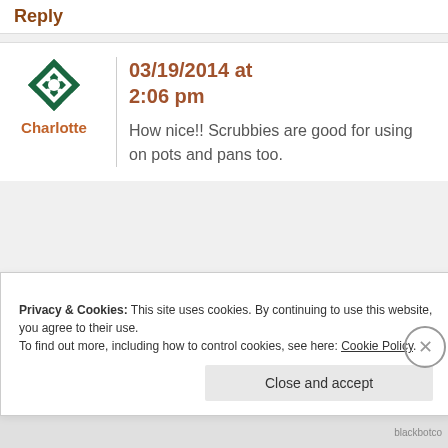Reply
Charlotte
03/19/2014 at 2:06 pm
How nice!! Scrubbies are good for using on pots and pans too.
Privacy & Cookies: This site uses cookies. By continuing to use this website, you agree to their use.
To find out more, including how to control cookies, see here: Cookie Policy.